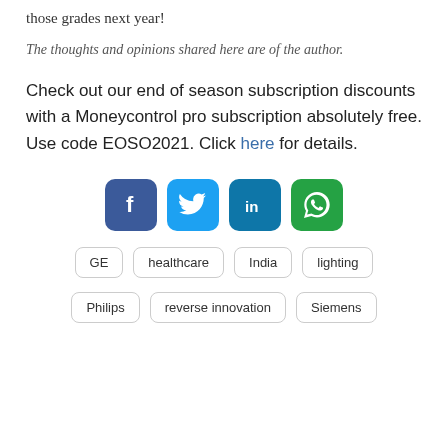those grades next year!
The thoughts and opinions shared here are of the author.
Check out our end of season subscription discounts with a Moneycontrol pro subscription absolutely free. Use code EOSO2021. Click here for details.
[Figure (infographic): Row of four social media share buttons: Facebook (blue), Twitter (light blue), LinkedIn (dark cyan), WhatsApp (green)]
GE
healthcare
India
lighting
Philips
reverse innovation
Siemens